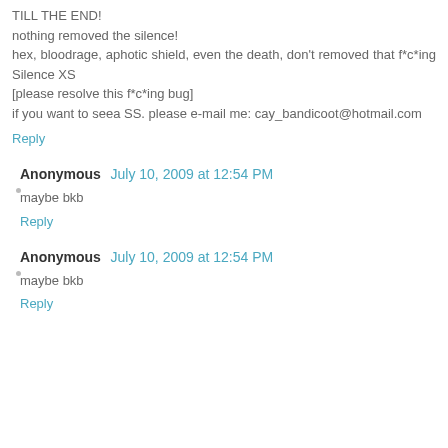TILL THE END!
nothing removed the silence!
hex, bloodrage, aphotic shield, even the death, don't removed that f*c*ing Silence XS
[please resolve this f*c*ing bug]
if you want to seea SS. please e-mail me: cay_bandicoot@hotmail.com
Reply
Anonymous July 10, 2009 at 12:54 PM
maybe bkb
Reply
Anonymous July 10, 2009 at 12:54 PM
maybe bkb
Reply